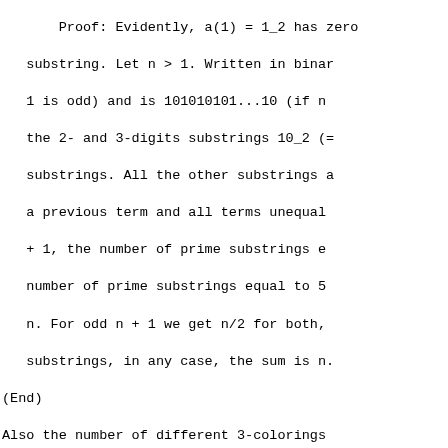Proof: Evidently, a(1) = 1_2 has zero substring. Let n > 1. Written in binary, 1 is odd) and is 101010101...10 (if n the 2- and 3-digits substrings 10_2 (= substrings. All the other substrings a a previous term and all terms unequal + 1, the number of prime substrings e number of prime substrings equal to 5 n. For odd n + 1 we get n/2 for both, substrings, in any case, the sum is n. (End)
Also the number of different 3-colorings triangulated planar polygons on a base the two base vertices are fixed. - Pat A090079(a(n)) = a(n) and A090079(m) <> a Zumkeller, Feb 16 2013
a(n) is the number of length n binary wo ending in an even number (possibly zer 001, 011, 100, 101, 111. - Geoffrey Cr a(n) is the number of permutations of le such that the first element of the per Pan, Apr 18 2015
a(n) is the sequence of the last row of via Sylvester's construction: H(2) = [ where * is the Kronecker product. - Wi Conjectured record values of A264784: a( Reinhard Zumkeller, Dec 04 2015. (This his arXiv:1608.08245 paper.) - Antti K Decimal representation of the x-axis, fr the n-th stage of growth of the two-d